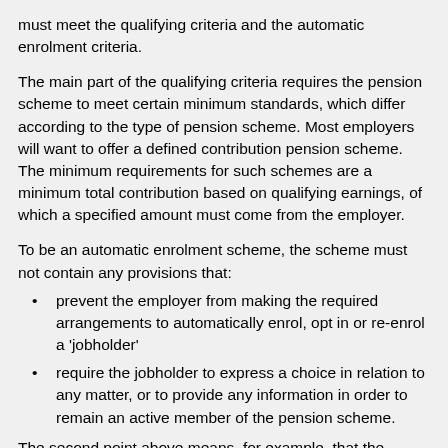must meet the qualifying criteria and the automatic enrolment criteria.
The main part of the qualifying criteria requires the pension scheme to meet certain minimum standards, which differ according to the type of pension scheme. Most employers will want to offer a defined contribution pension scheme. The minimum requirements for such schemes are a minimum total contribution based on qualifying earnings, of which a specified amount must come from the employer.
To be an automatic enrolment scheme, the scheme must not contain any provisions that:
prevent the employer from making the required arrangements to automatically enrol, opt in or re-enrol a 'jobholder'
require the jobholder to express a choice in relation to any matter, or to provide any information in order to remain an active member of the pension scheme.
The second point above means, for example, that the pension scheme has a default fund into which the pension